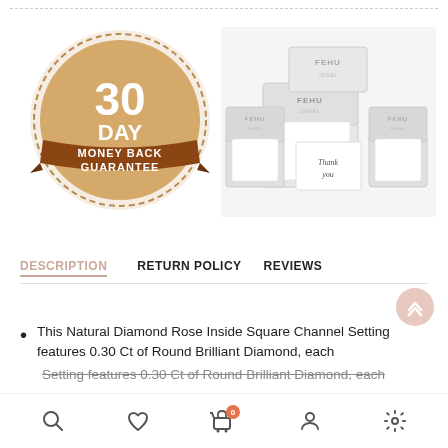[Figure (illustration): 30 Day Money Back Guarantee badge — circular gold/tan badge with brown ribbon banner, text '30 DAY MONEY BACK GUARANTEE']
[Figure (photo): FEHU Jewels packaging — several white jewelry gift boxes of different sizes with 'FEHU JEWEL' branding and a 'Thank you' card]
DESCRIPTION   RETURN POLICY   REVIEWS
This Natural Diamond Rose Inside Square Channel Setting features 0.30 Ct of Round Brilliant Diamond, each
[Figure (infographic): Bottom navigation bar with search, wishlist/heart, cart (badge 0), account, and settings icons]